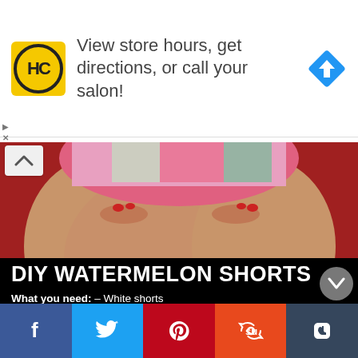[Figure (screenshot): Advertisement banner with HC logo (yellow circle with HC letters), text 'View store hours, get directions, or call your salon!' and a blue navigation arrow icon on the right]
[Figure (photo): Close-up photo of person wearing colorful watermelon-themed shorts against red background]
DIY WATERMELON SHORTS
What you need: – White shorts
– Tulip One-Step Tie Dyes in Pink and Green
– Tulip Dye Zip Ties
– Tulip Glam it Up Crystals in Black
– Tulip Cordless Heat Tool
– Scissors
– Plastic surface cover or tablecloth
– Baking rack
[Figure (infographic): Social media share bar with Facebook, Twitter, Pinterest, StumbleUpon, and Tumblr buttons]